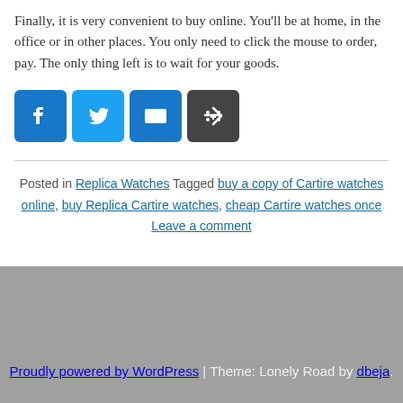Finally, it is very convenient to buy online. You'll be at home, in the office or in other places. You only need to click the mouse to order, pay. The only thing left is to wait for your goods.
[Figure (other): Social sharing icons: Facebook (blue), Twitter (blue), Email (blue), Share/More (dark gray)]
Posted in Replica Watches Tagged buy a copy of Cartire watches online, buy Replica Cartire watches, cheap Cartire watches once Leave a comment
Proudly powered by WordPress | Theme: Lonely Road by dbeja.